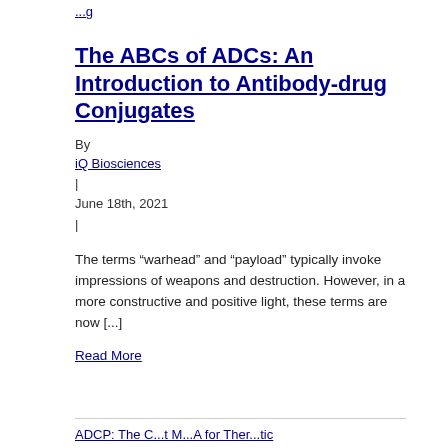...g
The ABCs of ADCs: An Introduction to Antibody-drug Conjugates
By
iQ Biosciences
|
June 18th, 2021
|
The terms “warhead” and “payload” typically invoke impressions of weapons and destruction. However, in a more constructive and positive light, these terms are now [...]
Read More
ADCP: The ...